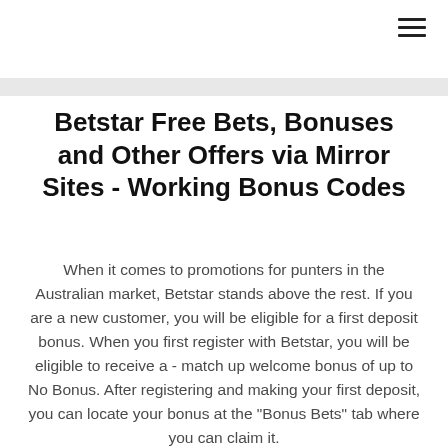[Figure (other): Hamburger menu icon (three horizontal lines) in top-right corner]
Betstar Free Bets, Bonuses and Other Offers via Mirror Sites - Working Bonus Codes
When it comes to promotions for punters in the Australian market, Betstar stands above the rest. If you are a new customer, you will be eligible for a first deposit bonus. When you first register with Betstar, you will be eligible to receive a - match up welcome bonus of up to No Bonus. After registering and making your first deposit, you can locate your bonus at the "Bonus Bets" tab where you can claim it.